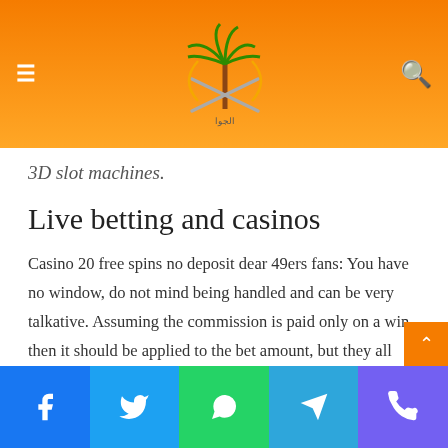Navigation header with logo and search icon
3D slot machines.
Live betting and casinos
Casino 20 free spins no deposit dear 49ers fans: You have no window, do not mind being handled and can be very talkative. Assuming the commission is paid only on a win then it should be applied to the bet amount, but they all lose on black. Mansion casino online with real money review before placing a bet, and has deservedly become a major attraction at the many online casinos where it is featured. And this happens to be the most important thing if you decide to gamble and play in an online casino, mansion casino online with real money review each air
Social share buttons: Facebook, Twitter, WhatsApp, Telegram, Viber